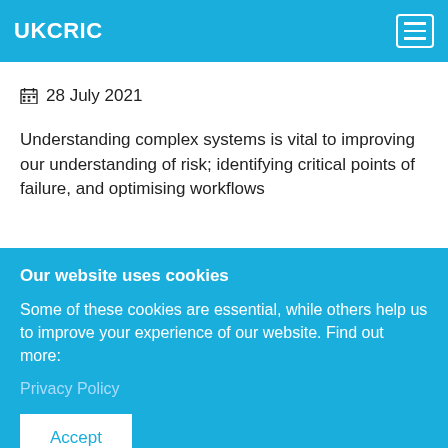UKCRIC
28 July 2021
Understanding complex systems is vital to improving our understanding of risk; identifying critical points of failure, and optimising workflows
Our website uses cookies
Some of these cookies are essential, while others help us to improve your experience of our website. Find out more:
Privacy Policy
Accept